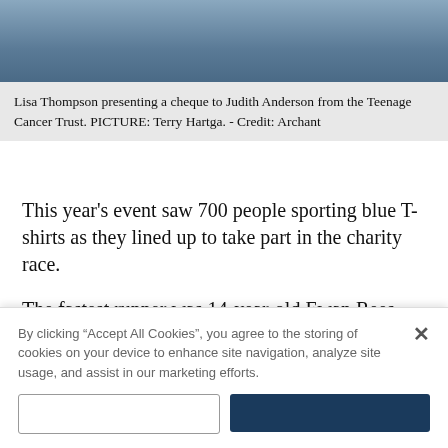[Figure (photo): Photo of Lisa Thompson presenting a cheque to Judith Anderson from the Teenage Cancer Trust, partial view at top of page]
Lisa Thompson presenting a cheque to Judith Anderson from the Teenage Cancer Trust. PICTURE: Terry Hartga. - Credit: Archant
This year's event saw 700 people sporting blue T-shirts as they lined up to take part in the charity race.
The fastest runner was 14-year-old Ewan Rees.
By clicking “Accept All Cookies”, you agree to the storing of cookies on your device to enhance site navigation, analyze site usage, and assist in our marketing efforts.